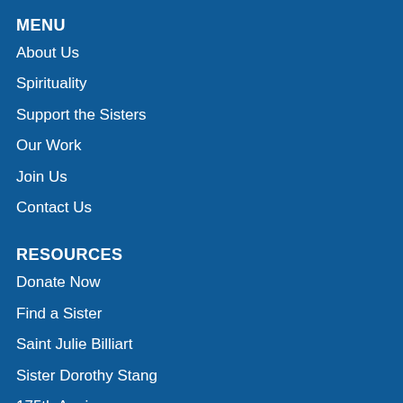MENU
About Us
Spirituality
Support the Sisters
Our Work
Join Us
Contact Us
RESOURCES
Donate Now
Find a Sister
Saint Julie Billiart
Sister Dorothy Stang
175th Anniversary